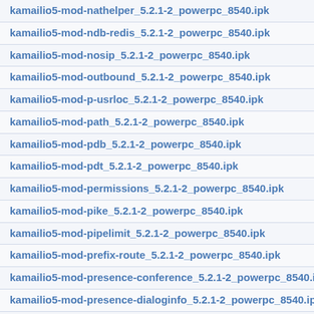kamailio5-mod-nathelper_5.2.1-2_powerpc_8540.ipk
kamailio5-mod-ndb-redis_5.2.1-2_powerpc_8540.ipk
kamailio5-mod-nosip_5.2.1-2_powerpc_8540.ipk
kamailio5-mod-outbound_5.2.1-2_powerpc_8540.ipk
kamailio5-mod-p-usrloc_5.2.1-2_powerpc_8540.ipk
kamailio5-mod-path_5.2.1-2_powerpc_8540.ipk
kamailio5-mod-pdb_5.2.1-2_powerpc_8540.ipk
kamailio5-mod-pdt_5.2.1-2_powerpc_8540.ipk
kamailio5-mod-permissions_5.2.1-2_powerpc_8540.ipk
kamailio5-mod-pike_5.2.1-2_powerpc_8540.ipk
kamailio5-mod-pipelimit_5.2.1-2_powerpc_8540.ipk
kamailio5-mod-prefix-route_5.2.1-2_powerpc_8540.ipk
kamailio5-mod-presence-conference_5.2.1-2_powerpc_8540.ipk
kamailio5-mod-presence-dialoginfo_5.2.1-2_powerpc_8540.ipk
kamailio5-mod-presence-mwi_5.2.1-2_powerpc_8540.ipk
kamailio5-mod-presence-profile_5.2.1-2_powerpc_8540.ipk
kamailio5-mod-presence-reginfo_5.2.1-2_powerpc_8540.ipk
kamailio5-mod-presence-xml_5.2.1-2_powerpc_8540.ipk
kamailio5-mod-presence_5.2.1-2_powerpc_8540.ipk
kamailio5-mod-pua-bla_5.2.1-2_powerpc_8540.ipk